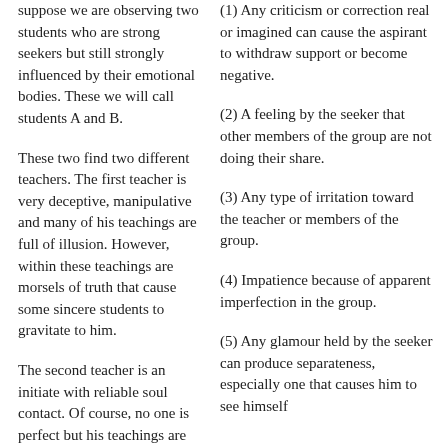suppose we are observing two students who are strong seekers but still strongly influenced by their emotional bodies. These we will call students A and B.
These two find two different teachers. The first teacher is very deceptive, manipulative and many of his teachings are full of illusion. However, within these teachings are morsels of truth that cause some sincere students to gravitate to him.
The second teacher is an initiate with reliable soul contact. Of course, no one is perfect but his teachings are inspired, have true principles and teach through His
(1) Any criticism or correction real or imagined can cause the aspirant to withdraw support or become negative.
(2) A feeling by the seeker that other members of the group are not doing their share.
(3) Any type of irritation toward the teacher or members of the group.
(4) Impatience because of apparent imperfection in the group.
(5) Any glamour held by the seeker can produce separateness, especially one that causes him to see himself